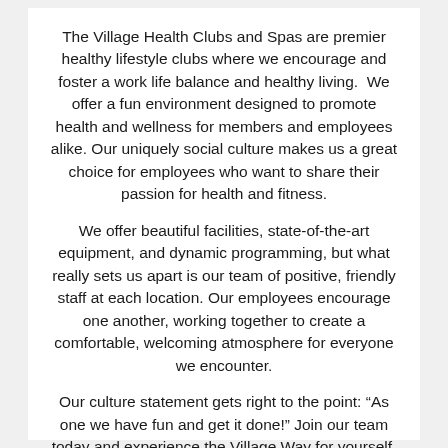The Village Health Clubs and Spas are premier healthy lifestyle clubs where we encourage and foster a work life balance and healthy living.  We offer a fun environment designed to promote health and wellness for members and employees alike. Our uniquely social culture makes us a great choice for employees who want to share their passion for health and fitness.
We offer beautiful facilities, state-of-the-art equipment, and dynamic programming, but what really sets us apart is our team of positive, friendly staff at each location. Our employees encourage one another, working together to create a comfortable, welcoming atmosphere for everyone we encounter.
Our culture statement gets right to the point: “As one we have fun and get it done!” Join our team today and experience the Village Way for yourself.
Job Summary:
Specialize in instructing member’s on a personal level